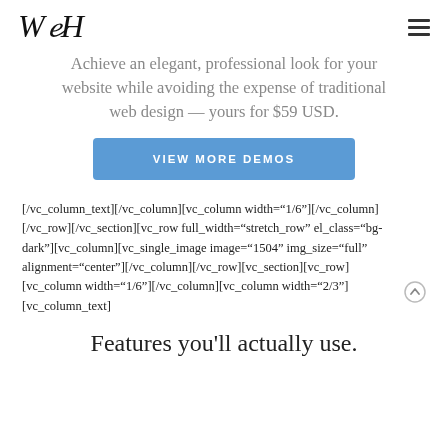WDH
Achieve an elegant, professional look for your website while avoiding the expense of traditional web design — yours for $59 USD.
VIEW MORE DEMOS
[/vc_column_text][/vc_column][vc_column width="1/6"][/vc_column][/vc_row][/vc_section][vc_row full_width="stretch_row" el_class="bg-dark"][vc_column][vc_single_image image="1504" img_size="full" alignment="center"][/vc_column][/vc_row][vc_section][vc_row][vc_column width="1/6"][/vc_column][vc_column width="2/3"][vc_column_text]
Features you'll actually use.